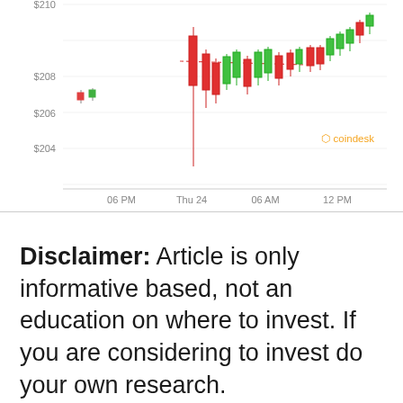[Figure (continuous-plot): Candlestick chart showing cryptocurrency price (ETH) ranging from approximately $204 to $210. X-axis shows time labels: 06 PM, Thu 24, 06 AM, 12 PM. Y-axis shows price levels: $204, $206, $208, $210. Chart includes red (bearish) and green (bullish) candlesticks with a dashed line trend. CoinDesk watermark in bottom right.]
Disclaimer: Article is only informative based, not an education on where to invest. If you are considering to invest do your own research.